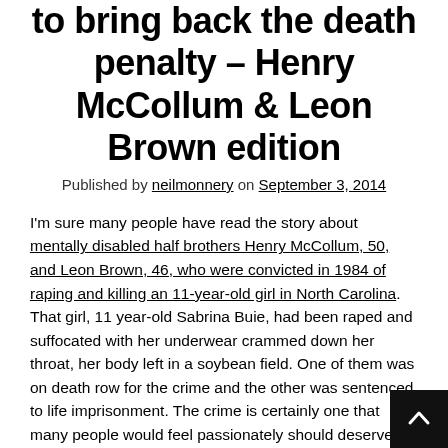to bring back the death penalty – Henry McCollum & Leon Brown edition
Published by neilmonnery on September 3, 2014
I'm sure many people have read the story about mentally disabled half brothers Henry McCollum, 50, and Leon Brown, 46, who were convicted in 1984 of raping and killing an 11-year-old girl in North Carolina. That girl, 11 year-old Sabrina Buie, had been raped and suffocated with her underwear crammed down her throat, her body left in a soybean field. One of them was on death row for the crime and the other was sentenced to life imprisonment. The crime is certainly one that many people would feel passionately should deserve the ultimate punishm